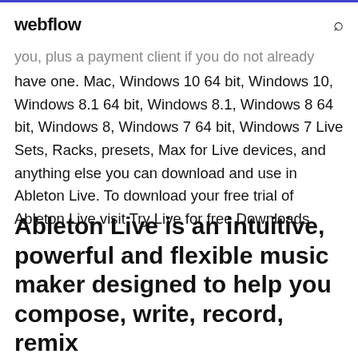webflow
you, plus a payment client if you do not already have one. Mac, Windows 10 64 bit, Windows 10, Windows 8.1 64 bit, Windows 8.1, Windows 8 64 bit, Windows 8, Windows 7 64 bit, Windows 7 Live Sets, Racks, presets, Max for Live devices, and anything else you can download and use in Ableton Live. To download your free trial of Ableton Live visit Try Live for free Downloads
Ableton Live is an intuitive, powerful and flexible music maker designed to help you compose, write, record, remix